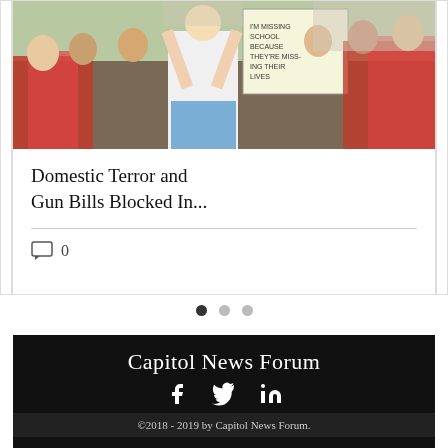[Figure (photo): Protest rally with people in red shirts holding signs, including one reading 'I'm missing school because they're missing their lives']
Domestic Terror and Gun Bills Blocked In...
0 comments
[Figure (other): Carousel navigation dots: three dots, first filled, others empty]
Capitol News Forum
[Figure (other): Social media icons: Facebook, Twitter, LinkedIn]
©2018 - 2019 by Capitol News Forum.